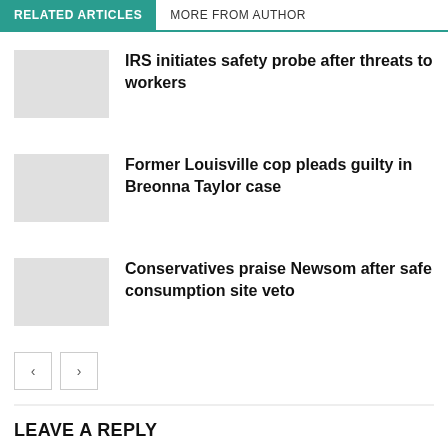RELATED ARTICLES  MORE FROM AUTHOR
IRS initiates safety probe after threats to workers
Former Louisville cop pleads guilty in Breonna Taylor case
Conservatives praise Newsom after safe consumption site veto
LEAVE A REPLY